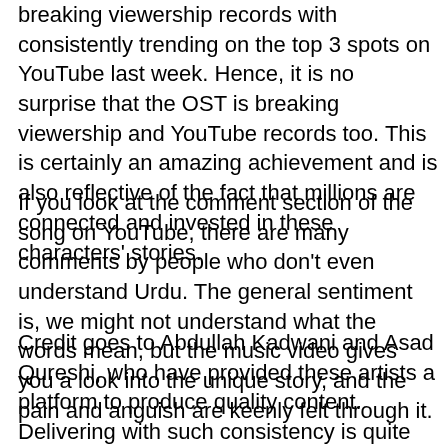breaking viewership records with consistently trending on the top 3 spots on YouTube last week. Hence, it is no surprise that the OST is breaking viewership and YouTube records too. This is certainly an amazing achievement and is also reflective of the fact that millions are connected and invested in these characters' stories.
If you look at the comment section of the song on YouTube, there are many comments by people who don't even understand Urdu. The general sentiment is, we might not understand what the words mean, but the music video gives you a look into the unique story, and the pain and anguish are keenly felt through it.
Credit goes to Abdullah Kadwani and Asad Qureshi, who have provided these artists a platform to produce quality content. Delivering with such consistency is quite rare, but 7th Sky Entertainment has been able to match the expectations of the audience with regularity.